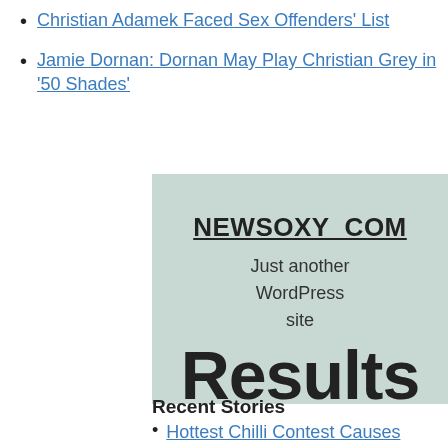Christian Adamek Faced Sex Offenders' List
Jamie Dornan: Dornan May Play Christian Grey in '50 Shades'
[Figure (screenshot): A light mint/teal colored box showing the text 'NEWSOXY_COM' underlined as a site title, followed by 'Just another WordPress site', and partially visible large bold text 'Results' at the bottom.]
Recent Stories
Hottest Chilli Contest Causes